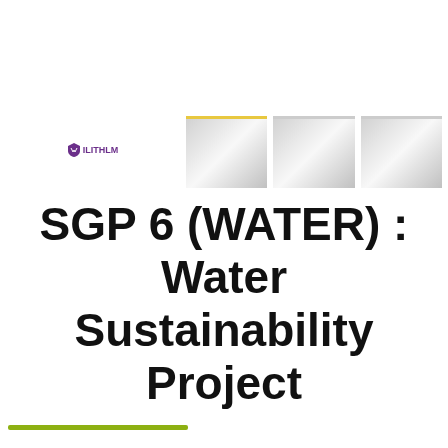[Figure (screenshot): University website header/navigation with logo and navigation tabs with gradient styling]
SGP 6 (WATER) : Water Sustainability Project